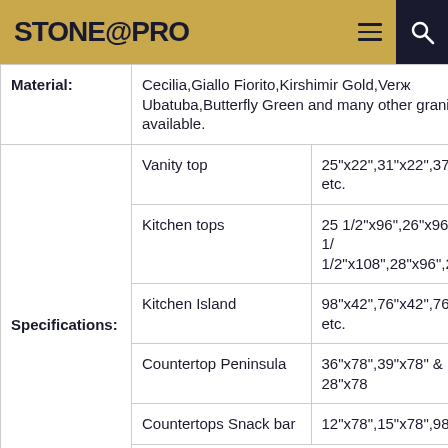STONE@PRO
| Label | Type | Sizes |
| --- | --- | --- |
| Material: |  | Cecilia,Giallo Fiorito,Kirshimir Gold,Vero Ubatuba,Butterfly Green and many other granite available. |
| Specifications: | Vanity top | 25"x22",31"x22",37"x22",4 etc. |
|  | Kitchen tops | 25 1/2"x96",26"x96",25 1/2"x108",28"x96",28"x10 |
|  | Kitchen Island | 98"x42",76"x42",76"x36",8 etc. |
|  | Countertop Peninsula | 36"x78",39"x78" & 28"x78 |
|  | Countertops Snack bar | 12"x78",15"x78",98"x18",1 |
|  | Other sizes are available upon d... | We welcome customized drawings and |